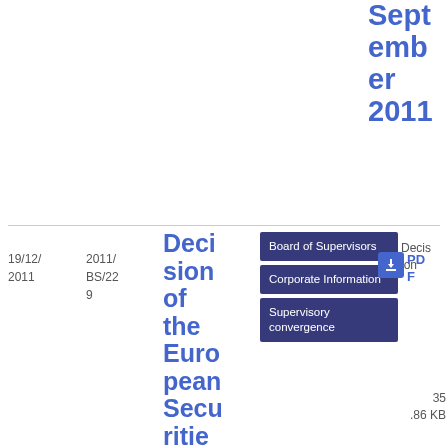September 2011
| Date | Reference | Title | Topics | Type | PDF | Size |
| --- | --- | --- | --- | --- | --- | --- |
| 19/12/2011 | 2011/BS/229 | Decision of the European Securities and Markets Authority establishing... | Board of Supervisors, Corporate Information, Supervisory convergence | Decision | PDF | 35.86 KB |